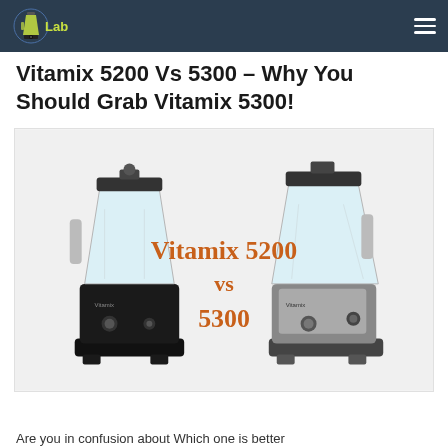VitaminLab (logo)
Vitamix 5200 Vs 5300 – Why You Should Grab Vitamix 5300!
[Figure (photo): Two Vitamix blenders side by side — Vitamix 5200 (black) on the left and Vitamix 5300 (silver/black) on the right — with orange text in the center reading 'Vitamix 5200 vs 5300']
Are you in confusion about Which one is better